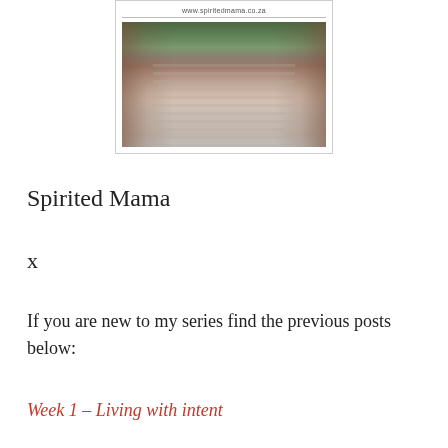[Figure (photo): A wooden footbridge viewed in perspective from one end, with railings on both sides, surrounded by green trees. The bridge deck shows wooden planks receding into the distance. Image is framed in a white photo-style border with a URL above it.]
Spirited Mama
x
If you are new to my series find the previous posts below:
Week 1 – Living with intent